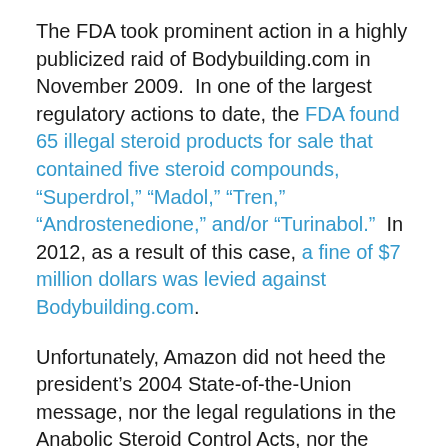The FDA took prominent action in a highly publicized raid of Bodybuilding.com in November 2009.  In one of the largest regulatory actions to date, the FDA found 65 illegal steroid products for sale that contained five steroid compounds, “Superdrol,” “Madol,” “Tren,” “Androstenedione,” and/or “Turinabol.”  In 2012, as a result of this case, a fine of $7 million dollars was levied against Bodybuilding.com.
Unfortunately, Amazon did not heed the president’s 2004 State-of-the-Union message, nor the legal regulations in the Anabolic Steroid Control Acts, nor the prominent FDA enforcement action against Bodybuilding.com.
Amazingly, in January 2011 we noted in a blog post that products the FDA had raided Bodybuilding.com for in 2009 were still available at Amazon.com, namely CEL M-